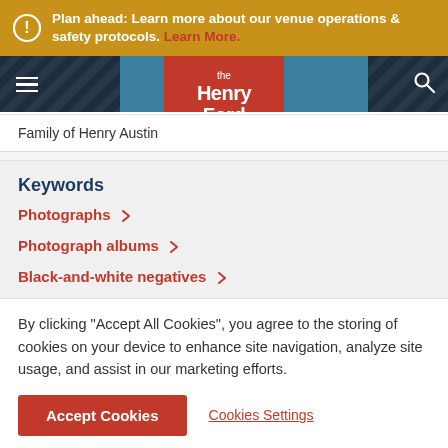Plan ahead: Learn more about our venue operations & safety protocols. Learn More.
[Figure (logo): The Henry Ford museum logo — orange/red square with 'the Henry Ford' text in white]
Family of Henry Austin
Keywords
Photographs
Photograph albums
Black-and-white negatives
By clicking "Accept All Cookies", you agree to the storing of cookies on your device to enhance site navigation, analyze site usage, and assist in our marketing efforts.
Accept Cookies   Cookies Settings